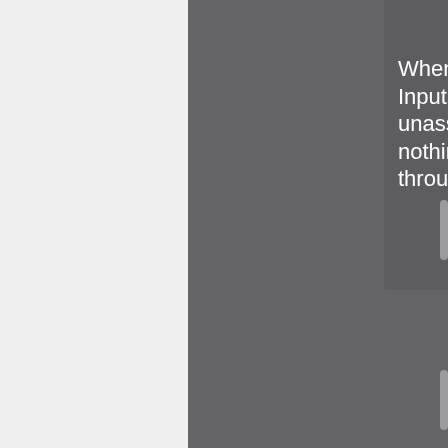[Figure (screenshot): A software UI screenshot showing a dark gray panel on the right side with a tooltip/popup box. The tooltip has a red label reading 'Fractal terrain 02' with a downward arrow. The tooltip contains white text reading 'When the Main Input is unassigned, nothing is passed through.' The left portion shows a light gray panel with a blue vertical line.]